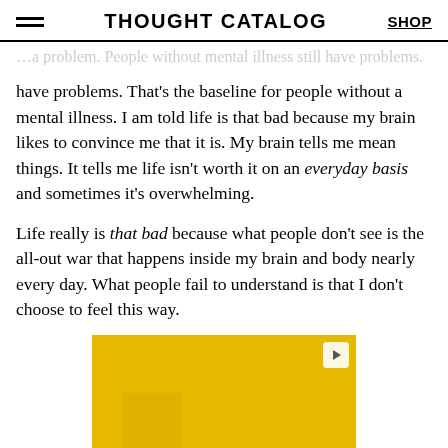THOUGHT CATALOG | SHOP
have problems. That’s the baseline for people without a mental illness. I am told life is that bad because my brain likes to convince me that it is. My brain tells me mean things. It tells me life isn’t worth it on an everyday basis and sometimes it’s overwhelming.
Life really is that bad because what people don’t see is the all-out war that happens inside my brain and body nearly every day. What people fail to understand is that I don’t choose to feel this way.
[Figure (photo): Advertisement image showing a woman in white against a yellow background, partially visible, with a video play button in the top right corner.]